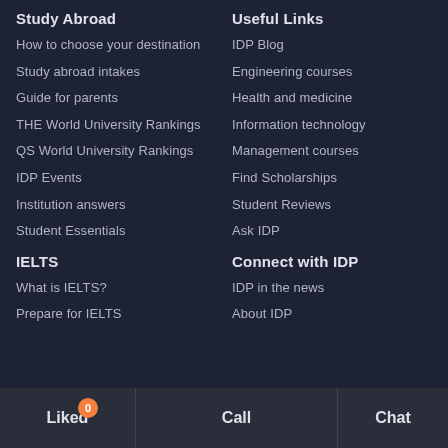Study Abroad
How to choose your destination
Study abroad intakes
Guide for parents
THE World University Rankings
QS World University Rankings
IDP Events
Institution answers
Student Essentials
IELTS
What is IELTS?
Prepare for IELTS
Useful Links
IDP Blog
Engineering courses
Health and medicine
Information technology
Management courses
Find Scholarships
Student Reviews
Ask IDP
Connect with IDP
IDP in the news
About IDP
Liked  0   Call   Chat